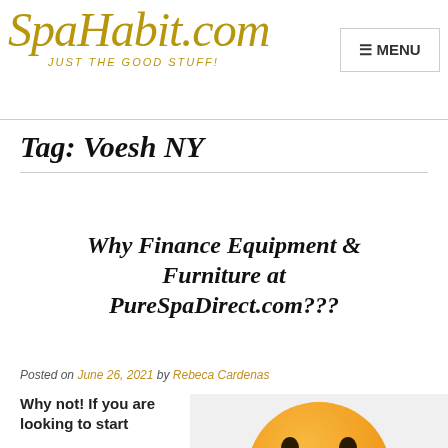SpaHabit.com — JUST THE GOOD STUFF! MENU
Tag: Voesh NY
Why Finance Equipment & Furniture at PureSpaDirect.com???
Posted on June 26, 2021 by Rebeca Cardenas
Why not! If you are looking to start
[Figure (illustration): Yellow smiley face emoji illustration]